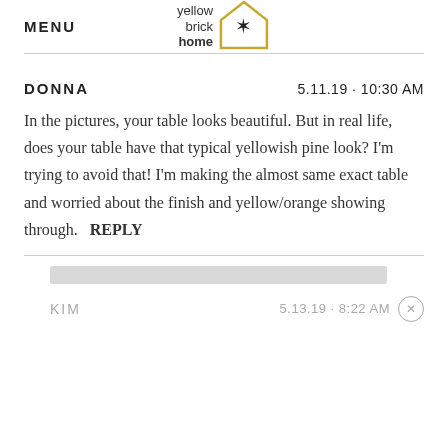MENU | yellow brick home logo
DONNA   5.11.19 · 10:30 AM
In the pictures, your table looks beautiful. But in real life, does your table have that typical yellowish pine look? I'm trying to avoid that! I'm making the almost same exact table and worried about the finish and yellow/orange showing through.   REPLY
KIM   5.13.19 · 8:22 AM